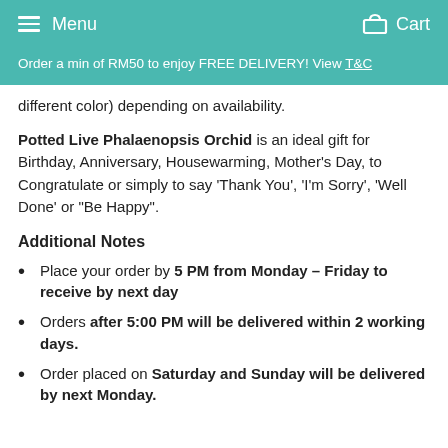Menu   Cart
Order a min of RM50 to enjoy FREE DELIVERY! View T&C
different color) depending on availability.
Potted Live Phalaenopsis Orchid is an ideal gift for Birthday, Anniversary, Housewarming, Mother's Day, to Congratulate or simply to say 'Thank You', 'I'm Sorry', 'Well Done' or "Be Happy".
Additional Notes
Place your order by 5 PM from Monday – Friday to receive by next day
Orders after 5:00 PM will be delivered within 2 working days.
Order placed on Saturday and Sunday will be delivered by next Monday.